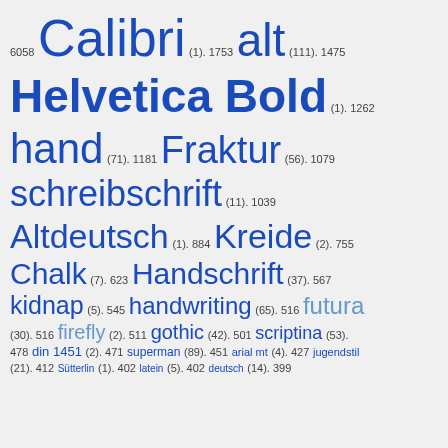[Figure (infographic): Tag cloud / word cloud showing font and handwriting style terms in varying sizes, colored in shades of blue, with counts and numeric values. Terms include Calibri, alt, Helvetica Bold, hand, Fraktur, schreibschrift, Altdeutsch, Kreide, Chalk, Handschrift, kidnap, handwriting, futura, firefly, gothic, scriptina, din 1451, superman, arial mt, jugendstil, Sütterlin, latein, deutsch, and others, each followed by count in parentheses and a numeric score.]